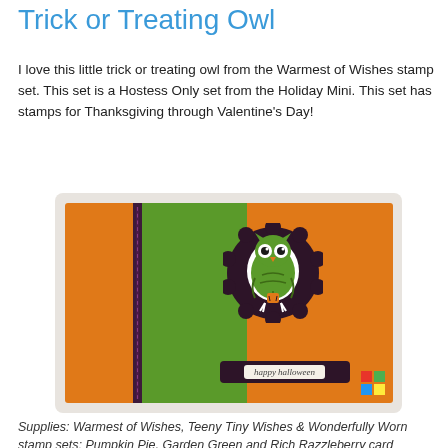Trick or Treating Owl
I love this little trick or treating owl from the Warmest of Wishes stamp set. This set is a Hostess Only set from the Holiday Mini. This set has stamps for Thanksgiving through Valentine's Day!
[Figure (photo): Handmade Halloween greeting card with orange cardstock background, green vertical band, dark purple scalloped circle with an owl holding a tiny pumpkin, and a 'happy halloween' label at the bottom right.]
Supplies: Warmest of Wishes, Teeny Tiny Wishes & Wonderfully Worn stamp sets; Pumpkin Pie, Garden Green and Rich Razzleberry card